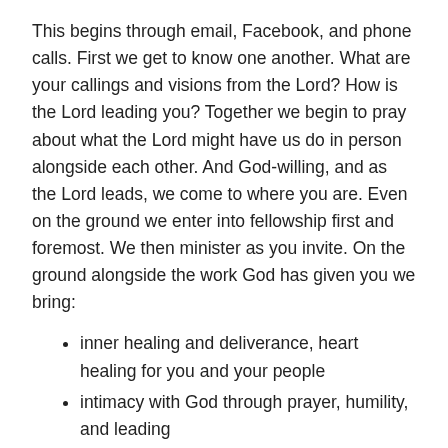This begins through email, Facebook, and phone calls. First we get to know one another. What are your callings and visions from the Lord? How is the Lord leading you? Together we begin to pray about what the Lord might have us do in person alongside each other. And God-willing, and as the Lord leads, we come to where you are. Even on the ground we enter into fellowship first and foremost. We then minister as you invite. On the ground alongside the work God has given you we bring:
inner healing and deliverance, heart healing for you and your people
intimacy with God through prayer, humility, and leading
heart conversations, preaching and teaching, about life, love, and ministry
“Create in me a clean heart, O God. Renew a loyal spirit within me. Do not banish me from your presence, and don’t take your Holy Spirit from me. Restore to me